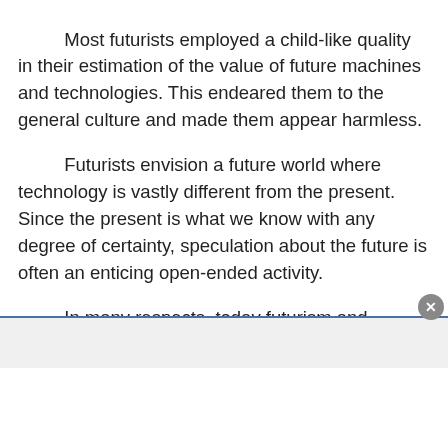Most futurists employed a child-like quality in their estimation of the value of future machines and technologies. This endeared them to the general culture and made them appear harmless.
Futurists envision a future world where technology is vastly different from the present. Since the present is what we know with any degree of certainty, speculation about the future is often an enticing open-ended activity.
In many respects, today futurism and “consulting” about the future have become a cottage industry. A fine example of this is the people who pose as know-all gurus in Ted Talks. If futurists are gifted at anything, it is the pursuit of a time in the